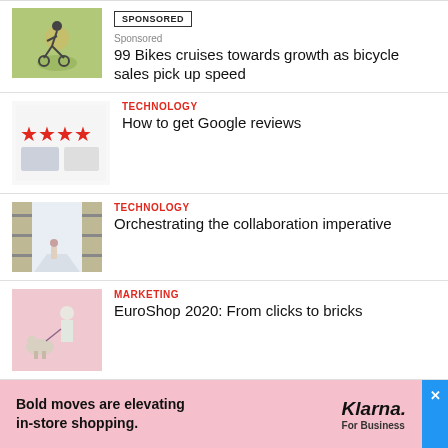SPONSORED | Sponsored | 99 Bikes cruises towards growth as bicycle sales pick up speed
TECHNOLOGY | How to get Google reviews
TECHNOLOGY | Orchestrating the collaboration imperative
MARKETING | EuroShop 2020: From clicks to bricks
[Figure (infographic): Pink advertisement banner for Klarna For Business with text: Bold moves are elevating in-store shopping.]